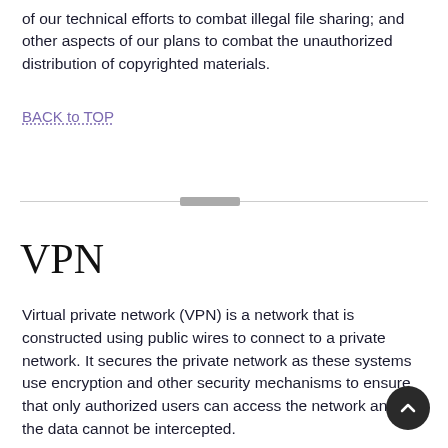of our technical efforts to combat illegal file sharing; and other aspects of our plans to combat the unauthorized distribution of copyrighted materials.
BACK to TOP
VPN
Virtual private network (VPN) is a network that is constructed using public wires to connect to a private network. It secures the private network as these systems use encryption and other security mechanisms to ensure that only authorized users can access the network and that the data cannot be intercepted.